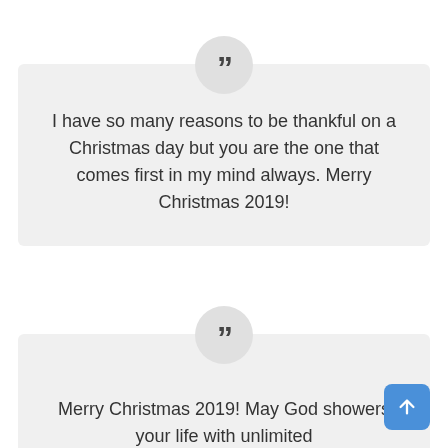I have so many reasons to be thankful on a Christmas day but you are the one that comes first in my mind always. Merry Christmas 2019!
Merry Christmas 2019! May God showers your life with unlimited